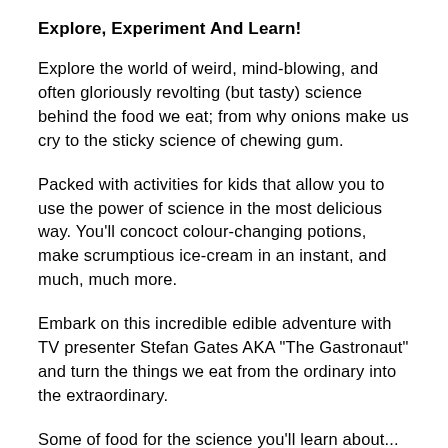Explore, Experiment And Learn!
Explore the world of weird, mind-blowing, and often gloriously revolting (but tasty) science behind the food we eat; from why onions make us cry to the sticky science of chewing gum.
Packed with activities for kids that allow you to use the power of science in the most delicious way. You'll concoct colour-changing potions, make scrumptious ice-cream in an instant, and much, much more.
Embark on this incredible edible adventure with TV presenter Stefan Gates AKA "The Gastronaut" and turn the things we eat from the ordinary into the extraordinary.
Some of food for the science you'll learn about...